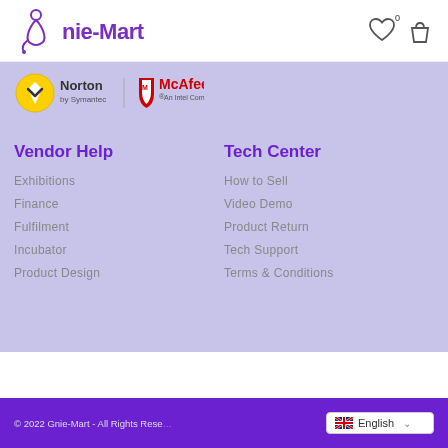gnie-Mart
[Figure (logo): Norton by Symantec and McAfee An Intel Company logos]
Vendor Help
Exhibitions
Finance
Fulfilment
Incubator
Product Design
Tech Center
How to Sell
Video Demo
Product Return
Tech Support
Terms & Conditions
© 2022 Gnie-Mart - All Rights Reserved